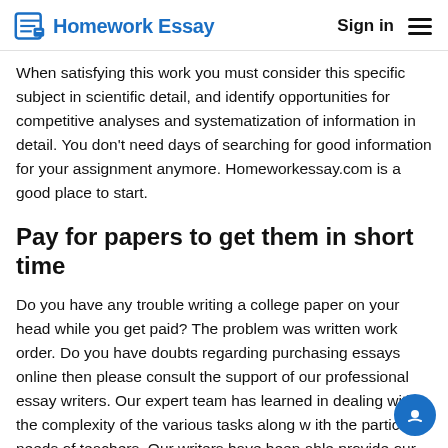Homework Essay | Sign in
When satisfying this work you must consider this specific subject in scientific detail, and identify opportunities for competitive analyses and systematization of information in detail. You don't need days of searching for good information for your assignment anymore. Homeworkessay.com is a good place to start.
Pay for papers to get them in short time
Do you have any trouble writing a college paper on your head while you get paid? The problem was written work order. Do you have doubts regarding purchasing essays online then please consult the support of our professional essay writers. Our expert team has learned in dealing with the complexity of the various tasks along w ith the particular needs of teachers. Our writers have been able provide our customers with high-quality and original research paper writing solutions with no plagiarism. Our